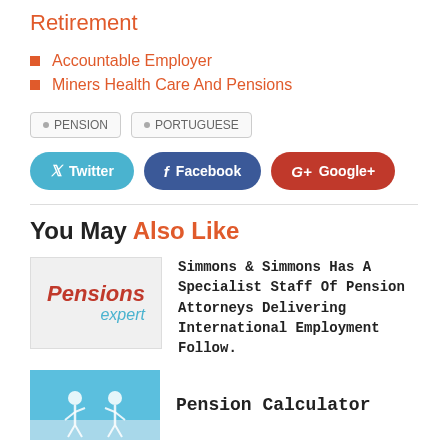Retirement
Accountable Employer
Miners Health Care And Pensions
PENSION  PORTUGUESE
[Figure (infographic): Social share buttons: Twitter (blue), Facebook (dark blue), Google+ (red)]
You May Also Like
Simmons & Simmons Has A Specialist Staff Of Pension Attorneys Delivering International Employment Follow.
Pension Calculator